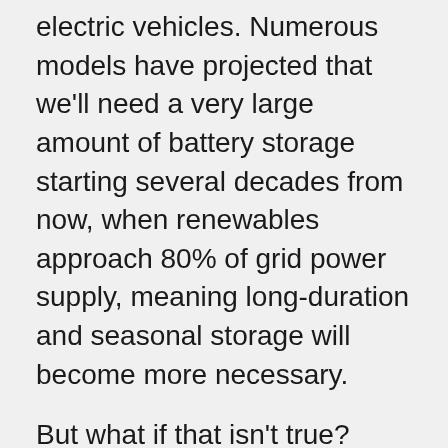electric vehicles. Numerous models have projected that we'll need a very large amount of battery storage starting several decades from now, when renewables approach 80% of grid power supply, meaning long-duration and seasonal storage will become more necessary.
But what if that isn't true? Many of those models assume that heating, ventilation and air conditioning (HVAC) loads, which account for about half of total power demand, will need to be met by electricity stored in batteries. But what if we could provide heat